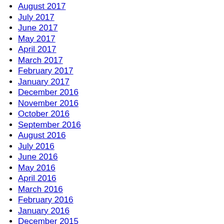August 2017
July 2017
June 2017
May 2017
April 2017
March 2017
February 2017
January 2017
December 2016
November 2016
October 2016
September 2016
August 2016
July 2016
June 2016
May 2016
April 2016
March 2016
February 2016
January 2016
December 2015
November 2015
October 2015
September 2015
August 2015